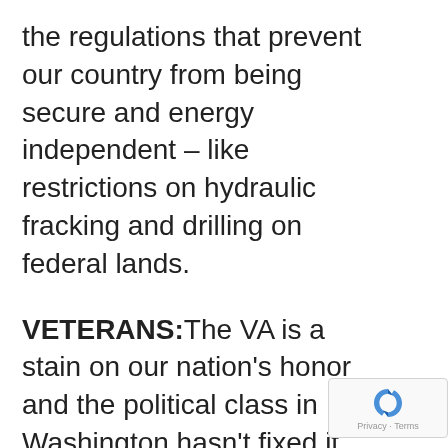the regulations that prevent our country from being secure and energy independent – like restrictions on hydraulic fracking and drilling on federal lands.
VETERANS:The VA is a stain on our nation's honor and the political class in Washington hasn't fixed it for decades. Technology can do amazing things, but our veterans are still waiting far too long for the benefits they have earned. I am